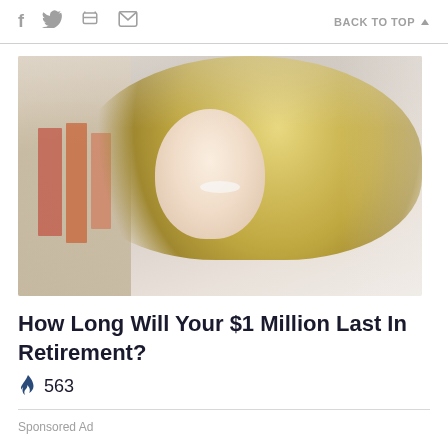f  [twitter] [print] [mail]   BACK TO TOP ▲
[Figure (photo): Portrait photo of a middle-aged blonde woman smiling, with a blurred bookshelf background]
How Long Will Your $1 Million Last In Retirement?
🔥 563
Sponsored Ad